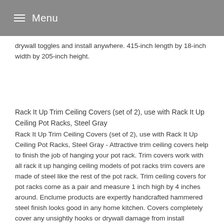Menu
drywall toggles and install anywhere. 415-inch length by 18-inch width by 205-inch height.
Rack It Up Trim Ceiling Covers (set of 2), use with Rack It Up Ceiling Pot Racks, Steel Gray
Rack It Up Trim Ceiling Covers (set of 2), use with Rack It Up Ceiling Pot Racks, Steel Gray - Attractive trim ceiling covers help to finish the job of hanging your pot rack. Trim covers work with all rack it up hanging ceiling models of pot racks trim covers are made of steel like the rest of the pot rack. Trim ceiling covers for pot racks come as a pair and measure 1 inch high by 4 inches around. Enclume products are expertly handcrafted hammered steel finish looks good in any home kitchen. Covers completely cover any unsightly hooks or drywall damage from install